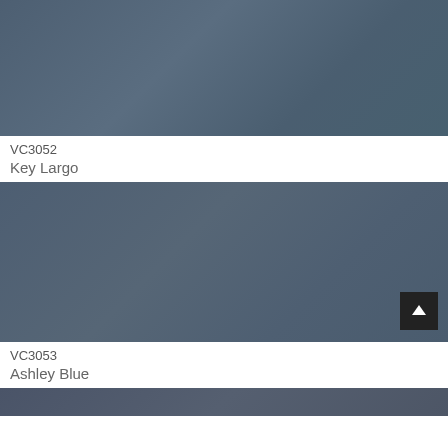[Figure (illustration): Color swatch for VC3052 Key Largo — a muted steel blue-grey paint color]
VC3052
Key Largo
[Figure (illustration): Color swatch for VC3053 Ashley Blue — a slightly darker muted steel blue-grey paint color]
VC3053
Ashley Blue
[Figure (illustration): Partial color swatch at bottom of page — darker blue-grey paint color, partially visible]